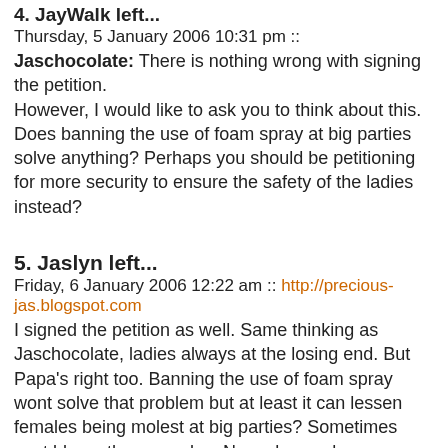4. JayWalk left...
Thursday, 5 January 2006 10:31 pm ::
Jaschocolate: There is nothing wrong with signing the petition.
However, I would like to ask you to think about this. Does banning the use of foam spray at big parties solve anything? Perhaps you should be petitioning for more security to ensure the safety of the ladies instead?
5. Jaslyn left...
Friday, 6 January 2006 12:22 am :: http://precious-jas.blogspot.com
I signed the petition as well. Same thinking as Jaschocolate, ladies always at the losing end. But Papa's right too. Banning the use of foam spray wont solve that problem but at least it can lessen females being molest at big parties? Sometimes cant blame the guys also. Nowadays gals are so much more daring than before. Imagine my friend working at Mount Faber telling me that he saw tons of used tissues with sperms at different corners and even tissues with blood on it!!! Such a big public place also can do there, wats touching and caressing to someone?